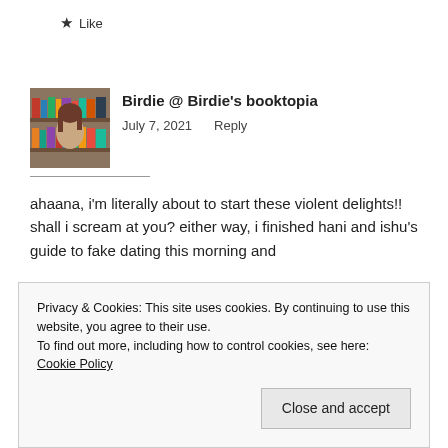★ Like
[Figure (photo): Avatar photo of a young woman in front of bookshelves]
Birdie @ Birdie's booktopia
July 7, 2021    Reply
ahaana, i'm literally about to start these violent delights!! shall i scream at you? either way, i finished hani and ishu's guide to fake dating this morning and
Privacy & Cookies: This site uses cookies. By continuing to use this website, you agree to their use.
To find out more, including how to control cookies, see here: Cookie Policy
Close and accept